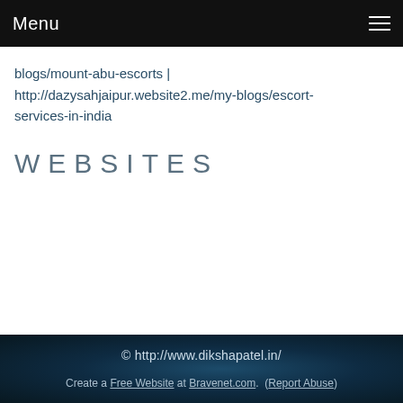Menu
blogs/mount-abu-escorts | http://dazysahjaipur.website2.me/my-blogs/escort-services-in-india
WEBSITES
© http://www.dikshapatel.in/
Create a Free Website at Bravenet.com. (Report Abuse)